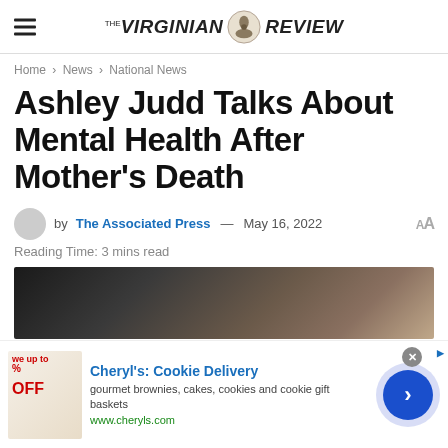The Virginian Review
Home > News > National News
Ashley Judd Talks About Mental Health After Mother's Death
by The Associated Press — May 16, 2022
Reading Time: 3 mins read
[Figure (photo): Partial view of a person with brown hair, dark background]
[Figure (infographic): Advertisement banner for Cheryl's Cookie Delivery — gourmet brownies, cakes, cookies and cookie gift baskets — www.cheryls.com]